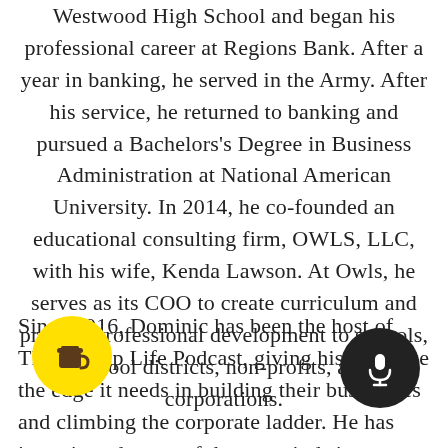Westwood High School and began his professional career at Regions Bank. After a year in banking, he served in the Army. After his service, he returned to banking and pursued a Bachelors's Degree in Business Administration at National American University. In 2014, he co-founded an educational consulting firm, OWLS, LLC, with his wife, Kenda Lawson. At Owls, he serves as its COO to create curriculum and provide professional development to schools, school districts, non-profits, and corporations.
Since 2016, Dominic has been the host of The Startup Life Podcast, giving his audience the edge it needs in building their businesses and climbing the corporate ladder. He has interviewed some of the top minds in
[Figure (illustration): Yellow circular button with a coffee cup icon (Buy Me a Coffee style)]
[Figure (illustration): Black circular button with a white microphone icon]